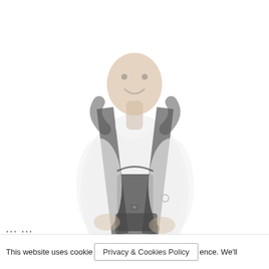[Figure (photo): A smiling man wearing a white shirt and a black baby carrier/harness on his torso, photographed against a white background. The image is slightly faded/washed out. The man is facing slightly to the left and smiling at the camera.]
... ... ...
This website uses cookies Privacy & Cookies Policy ence. We'll